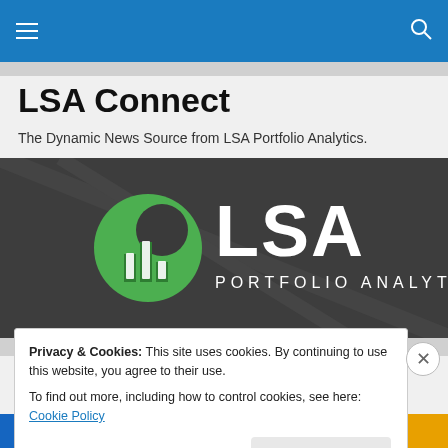LSA Connect — navigation bar with hamburger menu and search icon
LSA Connect
The Dynamic News Source from LSA Portfolio Analytics.
[Figure (logo): LSA Portfolio Analytics logo: green circular icon with bar chart inside, white text 'LSA' large and 'PORTFOLIO ANALYTICS' below, on dark gray background]
Privacy & Cookies: This site uses cookies. By continuing to use this website, you agree to their use.
To find out more, including how to control cookies, see here: Cookie Policy
Close and accept
email with more privacy.